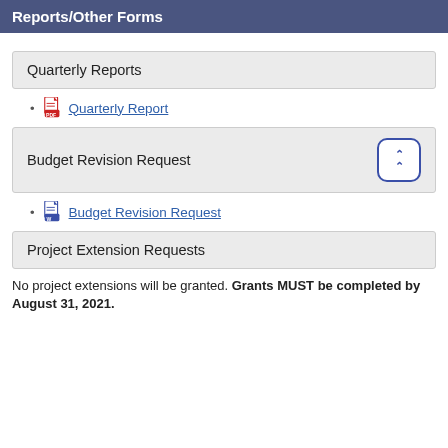Reports/Other Forms
Quarterly Reports
Quarterly Report
Budget Revision Request
Budget Revision Request
Project Extension Requests
No project extensions will be granted. Grants MUST be completed by August 31, 2021.